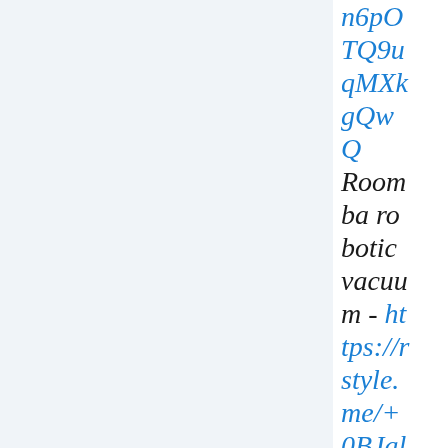n6pOTQ9uqMXkgQwQ Roomba robotic vacuum - https://rstyle.me/+0BJalOfrY-IewrqjVELDDwO-Ce